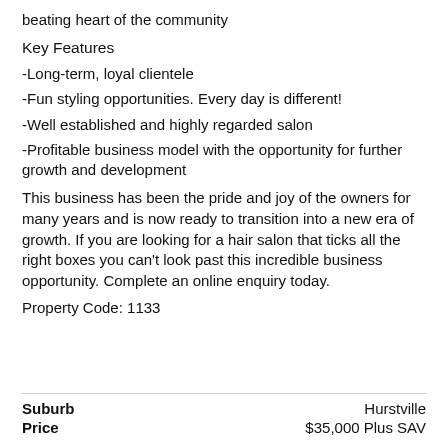beating heart of the community
Key Features
-Long-term, loyal clientele
-Fun styling opportunities. Every day is different!
-Well established and highly regarded salon
-Profitable business model with the opportunity for further growth and development
This business has been the pride and joy of the owners for many years and is now ready to transition into a new era of growth. If you are looking for a hair salon that ticks all the right boxes you can't look past this incredible business opportunity. Complete an online enquiry today.
Property Code: 1133
| Label | Value |
| --- | --- |
| Suburb | Hurstville |
| Price | $35,000 Plus SAV |